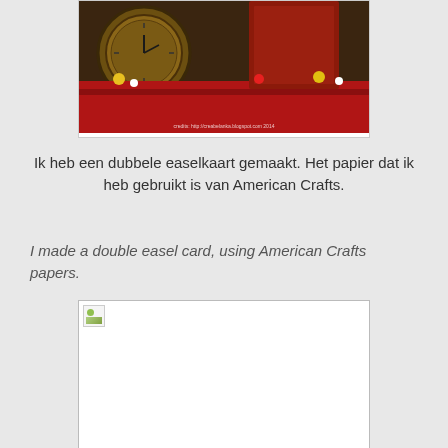[Figure (photo): A crafted double easel card display with a clock, colorful papers, and floral decorations in red, yellow, and green. Watermark text visible at bottom right: credits to a blogspot.com link, 2014.]
Ik heb een dubbele easelkaart gemaakt. Het papier dat ik heb gebruikt is van American Crafts.
I made a double easel card, using American Crafts papers.
[Figure (photo): A broken/missing image placeholder (white rectangle with small broken image icon in top-left corner).]